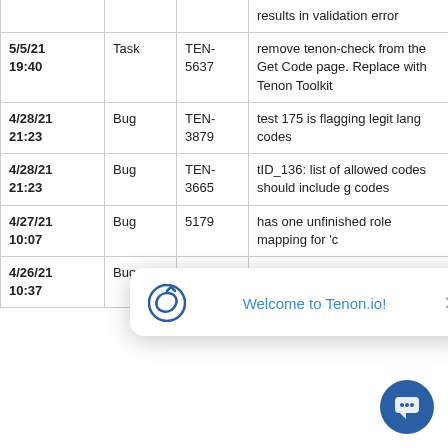| Date | Type | ID | Description |
| --- | --- | --- | --- |
|  |  |  | results in validation error |
| 5/5/21 19:40 | Task | TEN-5637 | remove tenon-check from the Get Code page. Replace with Tenon Toolkit |
| 4/28/21 21:23 | Bug | TEN-3879 | test 175 is flagging legit lang codes |
| 4/28/21 21:23 | Bug | TEN-3665 | tID_136: list of allowed codes should include... g codes |
| 4/27/21 10:07 | Bug | 5179 | has one unfinished role mapping for 'c... |
| 4/26/21 10:37 | Bug | TEN-5065 | test 269 should not throw for things like... |
[Figure (other): Chat popup overlay with Tenon.io logo icon, 'Welcome to Tenon.io!' text in blue, and a close button. A circular chat button is positioned at the bottom right.]